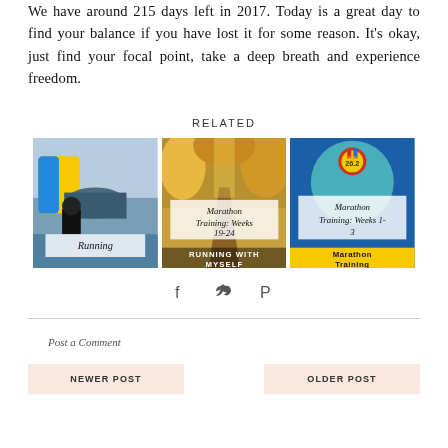We have around 215 days left in 2017. Today is a great day to find your balance if you have lost it for some reason. It's okay, just find your focal point, take a deep breath and experience freedom.
RELATED
[Figure (photo): Running event photo with inflatable obstacle in background, label: Running]
[Figure (photo): Autumn running path photo, label: Marathon Training: Weeks 19-24, bottom text: RUNNING WITH MYSELF]
[Figure (photo): Blue background with marathon medal graphic, label: Marathon Training: Weeks 1-3, bottom text: Marathon Training]
Social share icons: Facebook, Twitter, Pinterest
Post a Comment
NEWER POST
OLDER POST